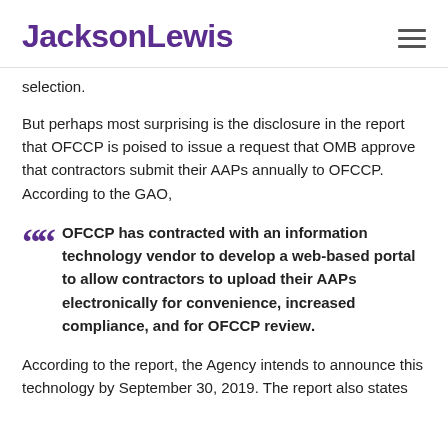JacksonLewis
selection.
But perhaps most surprising is the disclosure in the report that OFCCP is poised to issue a request that OMB approve that contractors submit their AAPs annually to OFCCP.  According to the GAO,
OFCCP has contracted with an information technology vendor to develop a web-based portal to allow contractors to upload their AAPs electronically for convenience, increased compliance, and for OFCCP review.
According to the report, the Agency intends to announce this technology by September 30, 2019. The report also states